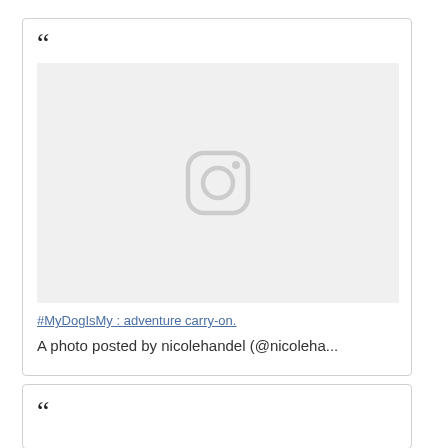“
[Figure (screenshot): Instagram embedded post placeholder with Instagram camera icon in light gray on a light gray background]
#MyDogIsMy : adventure carry-on.
A photo posted by nicolehandel (@nicoleha...
“